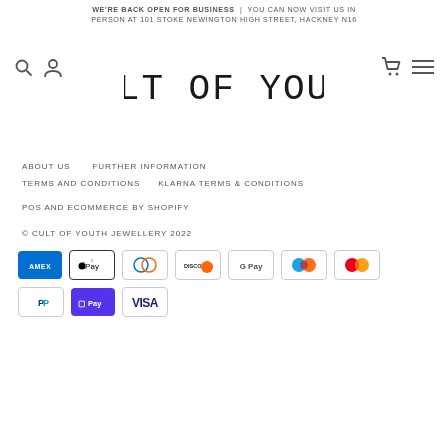WE'RE BACK OPEN FOR BUSINESS | YOU CAN NOW VISIT US IN PERSON AT 101 STOKE NEWINGTON HIGH STREET, HACKNEY N16
[Figure (logo): Cult of Youth handwritten logo with navigation icons]
ABOUT US    FURTHER INFORMATION
TERMS AND CONDITIONS    KLARNA TERMS & CONDITIONS
POS AND ECOMMERCE BY SHOPIFY
© CULT OF YOUTH JEWELLERY 2022
[Figure (infographic): Payment method icons: American Express, Apple Pay, Diners Club, Discover, Google Pay, Maestro, Mastercard, PayPal, Shopify Pay, Visa]